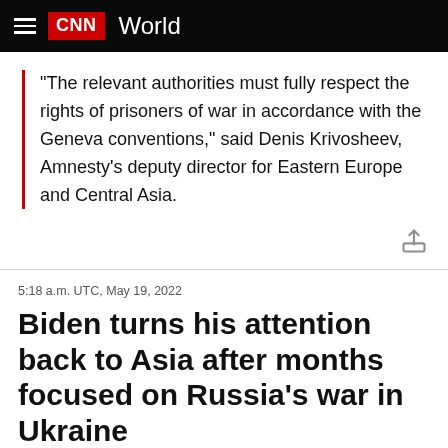CNN World
“The relevant authorities must fully respect the rights of prisoners of war in accordance with the Geneva conventions,” said Denis Krivosheev, Amnesty’s deputy director for Eastern Europe and Central Asia.
5:18 a.m. UTC, May 19, 2022
Biden turns his attention back to Asia after months focused on Russia’s war in Ukraine
From CNN’s Kevin Liptak
[Figure (photo): Photo of a person, partially visible, with green foliage background.]